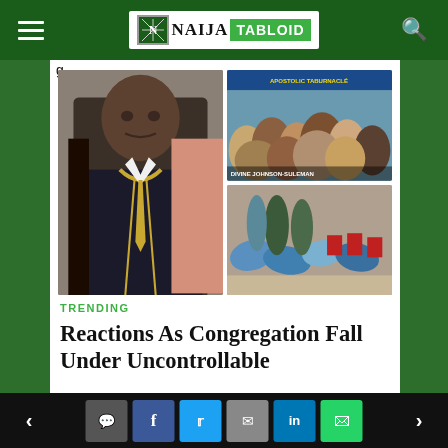NAIJA TABLOID
[Figure (photo): Composite image: left side shows a man in a black suit with gold tie and decorative collar, right side top shows a crowd at a church gathering with text overlay 'DIVINE JOHNSON-SULEMAN', right side bottom shows people at a religious event with chairs visible]
TRENDING
Reactions As Congregation Fall Under Uncontrollable
Navigation bar with comment, facebook, twitter, email, linkedin, whatsapp buttons